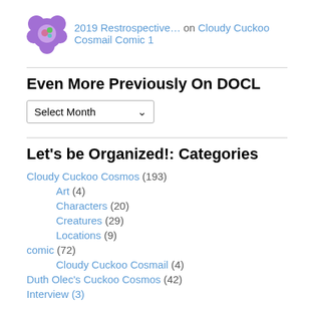2019 Restrospective… on Cloudy Cuckoo Cosmail Comic 1
Even More Previously On DOCL
[Figure (other): A dropdown selector widget labeled 'Select Month' with a downward arrow]
Let's be Organized!: Categories
Cloudy Cuckoo Cosmos (193)
Art (4)
Characters (20)
Creatures (29)
Locations (9)
comic (72)
Cloudy Cuckoo Cosmail (4)
Duth Olec's Cuckoo Cosmos (42)
Interview (3)